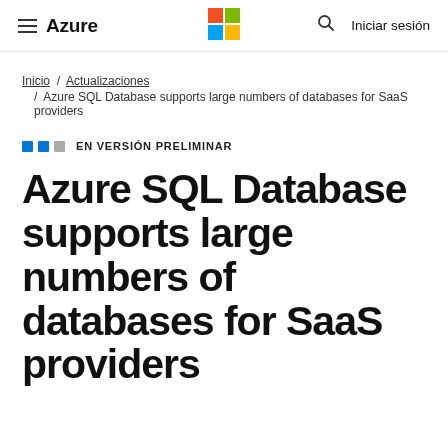≡ Azure  [Microsoft logo]  🔍  Iniciar sesión
Inicio / Actualizaciones / Azure SQL Database supports large numbers of databases for SaaS providers
EN VERSIÓN PRELIMINAR
Azure SQL Database supports large numbers of databases for SaaS providers